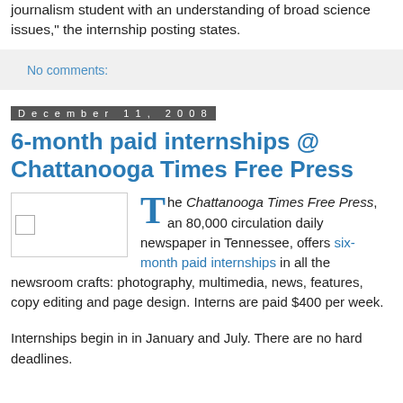journalism student with an understanding of broad science issues," the internship posting states.
No comments:
December 11, 2008
6-month paid internships @ Chattanooga Times Free Press
[Figure (photo): Placeholder image for Chattanooga Times Free Press article]
The Chattanooga Times Free Press, an 80,000 circulation daily newspaper in Tennessee, offers six-month paid internships in all the newsroom crafts: photography, multimedia, news, features, copy editing and page design. Interns are paid $400 per week.
Internships begin in in January and July. There are no hard deadlines.